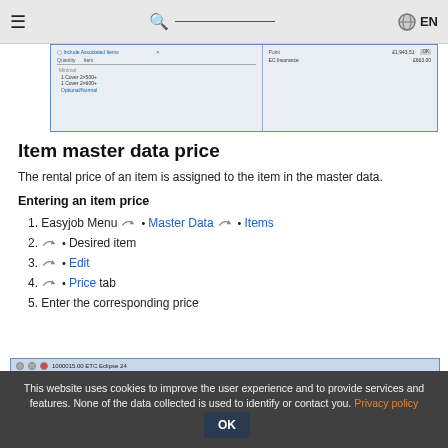≡  🔍  EN
[Figure (screenshot): A screenshot of a software dialog showing associated items with quantity/item columns, price fields showing £1,943.51 and £663.00, and EC Insurance entry.]
Item master data price
The rental price of an item is assigned to the item in the master data.
Entering an item price
1. Easyjob Menu → • Master Data → • Items
2. → • Desired item
3. → • Edit
4. → • Price tab
5. Enter the corresponding price
[Figure (screenshot): A screenshot of ETC Eclipse 24 item editor window, showing item number 1000015.00, with tabs for editing item properties.]
This website uses cookies to improve the user experience and to provide services and features. None of the data collected is used to identify or contact you. Privacy policy OK